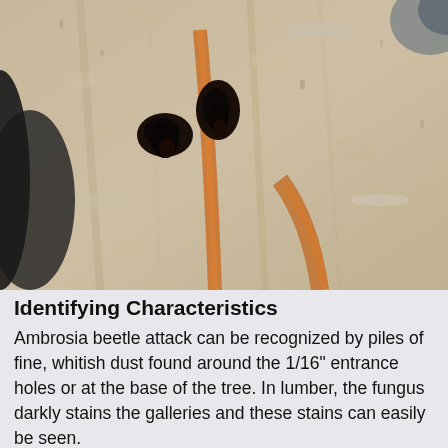[Figure (photo): Close-up photograph of tree bark showing ambrosia beetle attack damage, with dark stained entry holes and galleries visible in the pale/whitish wood surface.]
Identifying Characteristics
Ambrosia beetle attack can be recognized by piles of fine, whitish dust found around the 1/16" entrance holes or at the base of the tree. In lumber, the fungus darkly stains the galleries and these stains can easily be seen.
Adults are the ones and this are smaller, about 1/4" l...